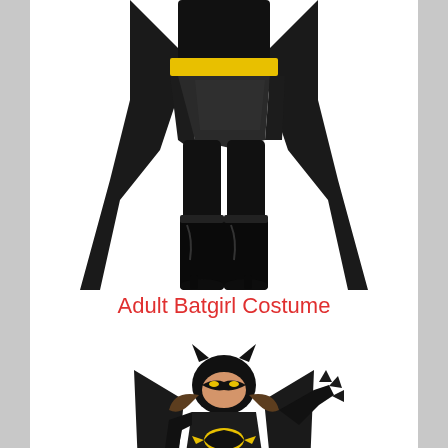[Figure (photo): Adult woman in Batgirl costume from waist down, wearing black shiny skirt, yellow belt, black thigh-high boots, and flowing black cape with bat-wing details on a white background.]
Adult Batgirl Costume
[Figure (photo): Child wearing Batgirl costume including bat mask/cowl, black dress with yellow Batman logo and yellow belt, black spiky gauntlet glove, and black cape, on a white background.]